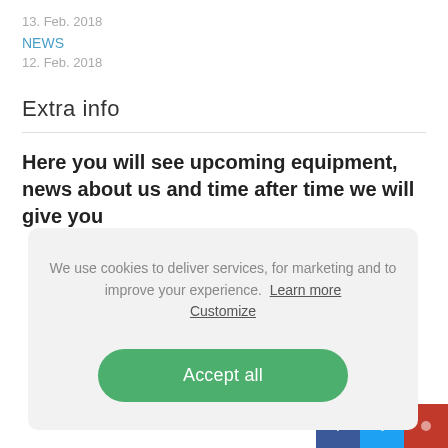13. Feb. 2018
NEWS
12. Feb. 2018
Extra info
Here you will see upcoming equipment, news about us and time after time we will give you
We use cookies to deliver services, for marketing and to improve your experience.  Learn more Customize
Accept all